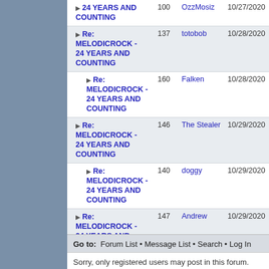| Topic | Replies | Author | Date |
| --- | --- | --- | --- |
| ▶ Re: MELODICROCK - 24 YEARS AND COUNTING | 100 | OzzMosiz | 10/27/2020 |
| ▶ Re: MELODICROCK - 24 YEARS AND COUNTING | 137 | totobob | 10/28/2020 |
| ▶ Re: MELODICROCK - 24 YEARS AND COUNTING | 160 | Falken | 10/28/2020 |
| ▶ Re: MELODICROCK - 24 YEARS AND COUNTING | 146 | The Stealer | 10/29/2020 |
| ▶ Re: MELODICROCK - 24 YEARS AND COUNTING | 140 | doggy | 10/29/2020 |
| ▶ Re: MELODICROCK - 24 YEARS AND COUNTING | 147 | Andrew | 10/29/2020 |
| ▶ Re: MELODICROCK - 24 YEARS AND COUNTING | 149 | Terry K. | 10/30/2020 |
Go to: Forum List • Message List • Search • Log In
Sorry, only registered users may post in this forum.